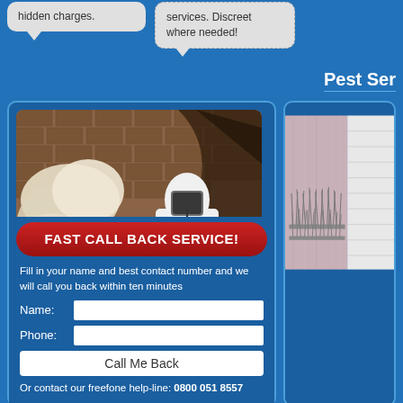hidden charges.
services. Discreet where needed!
Pest Ser
[Figure (photo): Pest control worker in white protective suit and mask spraying foam insulation/pesticide on a brick wall in an attic space]
FAST CALL BACK SERVICE!
Fill in your name and best contact number and we will call you back within ten minutes
Name:
Phone:
Call Me Back
Or contact our freefone help-line: 0800 051 8557
[Figure (photo): Bird spikes installed on a ledge outside a building]
Ne
Able M